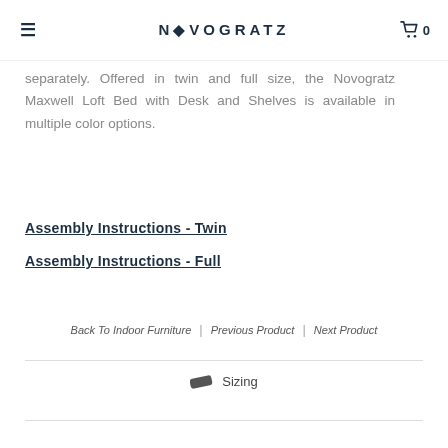NOVOGRATZ | 0
separately. Offered in twin and full size, the Novogratz Maxwell Loft Bed with Desk and Shelves is available in multiple color options.
Assembly Instructions - Twin
Assembly Instructions - Full
Back To Indoor Furniture | Previous Product | Next Product
Sizing